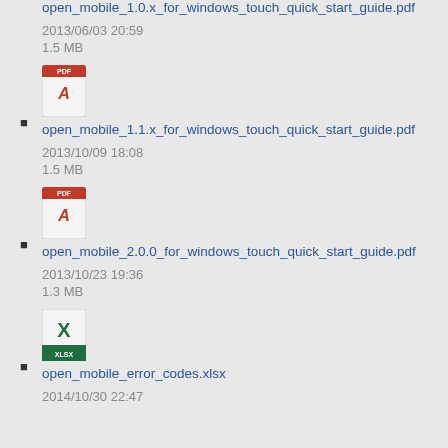open_mobile_1.0.x_for_windows_touch_quick_start_guide.pdf
2013/06/03 20:59
1.5 MB
open_mobile_1.1.x_for_windows_touch_quick_start_guide.pdf
2013/10/09 18:08
1.5 MB
open_mobile_2.0.0_for_windows_touch_quick_start_guide.pdf
2013/10/23 19:36
1.3 MB
open_mobile_error_codes.xlsx
2014/10/30 22:47